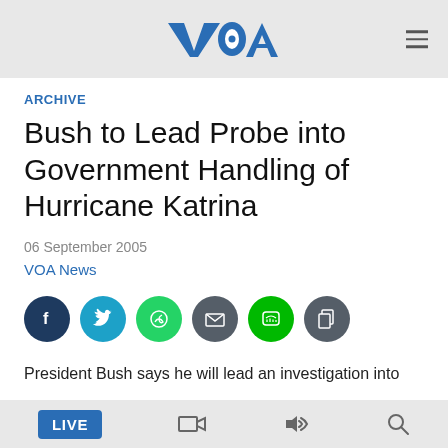VOA
ARCHIVE
Bush to Lead Probe into Government Handling of Hurricane Katrina
06 September 2005
VOA News
[Figure (infographic): Social media sharing icons: Facebook, Twitter, WhatsApp, Email, Line, Copy]
President Bush says he will lead an investigation into
LIVE [bottom navigation bar with video, audio, and search icons]